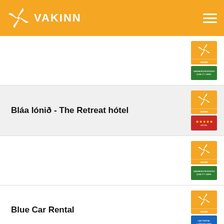VAKINN
(unnamed entry with Vakinn quality badge and green certification)
Bláa lónið - The Retreat hótel
(unnamed entry with Vakinn quality badge and green certification)
Blue Car Rental
(unnamed entry with Vakinn quality badge and green certification)
Bus4u Iceland